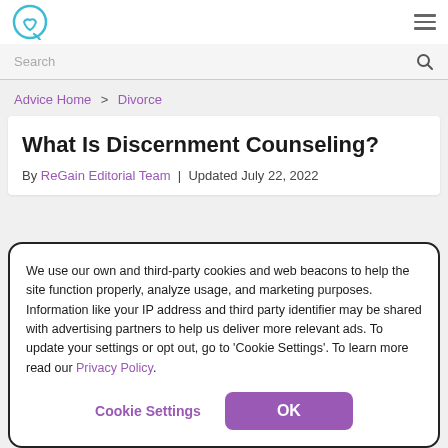ReGain logo and hamburger menu
Search
Advice Home > Divorce
What Is Discernment Counseling?
By ReGain Editorial Team | Updated July 22, 2022
We use our own and third-party cookies and web beacons to help the site function properly, analyze usage, and marketing purposes. Information like your IP address and third party identifier may be shared with advertising partners to help us deliver more relevant ads. To update your settings or opt out, go to 'Cookie Settings'. To learn more read our Privacy Policy.
Cookie Settings
OK